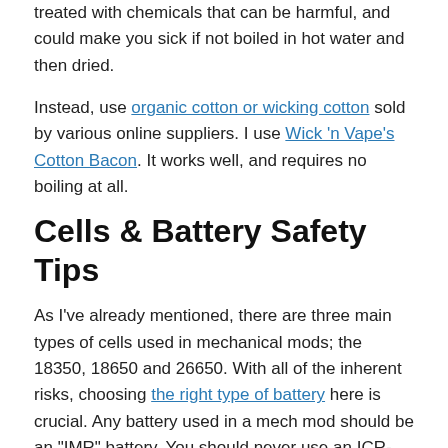treated with chemicals that can be harmful, and could make you sick if not boiled in hot water and then dried.
Instead, use organic cotton or wicking cotton sold by various online suppliers. I use Wick 'n Vape's Cotton Bacon. It works well, and requires no boiling at all.
Cells & Battery Safety Tips
As I've already mentioned, there are three main types of cells used in mechanical mods; the 18350, 18650 and 26650. With all of the inherent risks, choosing the right type of battery here is crucial. Any battery used in a mech mod should be an "IMR" battery. You should never use an ICR-type battery since they're not as safe and catastrophic failure is far more likely. Most vaping suppliers only carry IMR batteries, so stick with someone